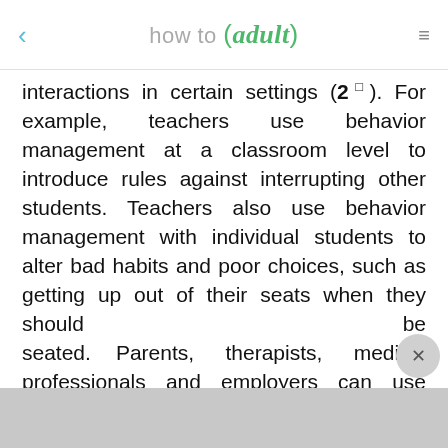how to (adult)
interactions in certain settings (2¹). For example, teachers use behavior management at a classroom level to introduce rules against interrupting other students. Teachers also use behavior management with individual students to alter bad habits and poor choices, such as getting up out of their seats when they should be seated. Parents, therapists, medical professionals and employers can use behavior management approaches.